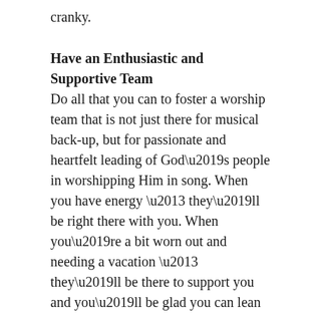cranky.
Have an Enthusiastic and Supportive Team
Do all that you can to foster a worship team that is not just there for musical back-up, but for passionate and heartfelt leading of God’s people in worshipping Him in song. When you have energy – they’ll be right there with you. When you’re a bit worn out and needing a vacation – they’ll be there to support you and you’ll be glad you can lean on them.
When we look out over our congregations this coming Sunday, we will be looking at some people who are well-rested, happy, fresh from vacation, and ready to encounter God. Others